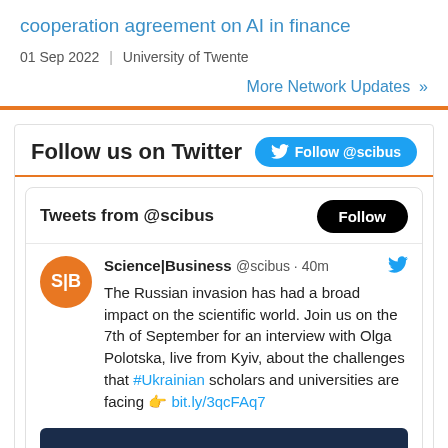cooperation agreement on AI in finance
01 Sep 2022  |  University of Twente
More Network Updates »
Follow us on Twitter
Tweets from @scibus
Science|Business @scibus · 40m
The Russian invasion has had a broad impact on the scientific world. Join us on the 7th of September for an interview with Olga Polotska, live from Kyiv, about the challenges that #Ukrainian scholars and universities are facing 👉 bit.ly/3qcFAq7